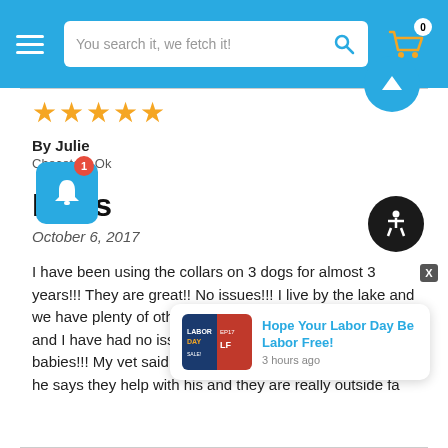[Figure (screenshot): E-commerce website header with hamburger menu, search bar reading 'You search it, we fetch it!', and shopping cart icon with badge showing 0]
★★★★★
By Julie
Checotah, Ok
Dogs
October 6, 2017
I have been using the collars on 3 dogs for almost 3 years!!! They are great!! No issues!!! I live by the lake and we have plenty of other furry friends come thru the yard and I have had no issues with fleas or ticks on my babies!!! My vet said he uses them on his cattle dogs and he says they help with his and they are really outside farm dogs...
[Figure (screenshot): Notification popup showing 'Hope Your Labor Day Be Labor Free!' with an image thumbnail and timestamp '3 hours ago']
[Figure (screenshot): Blue notification bell button with red badge showing 1, blue up-arrow circle button, dark accessibility icon button, and X close button]